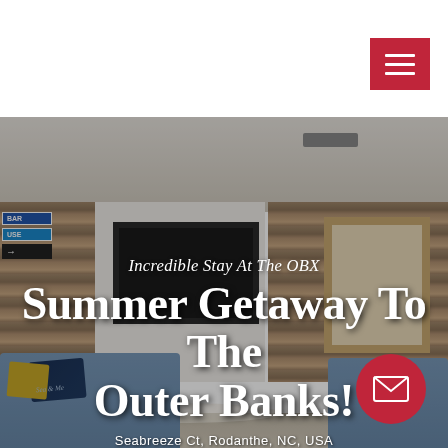[Figure (photo): Interior of a beach house living room showing a fireplace with TV, reclaimed wood plank walls, blue sofas with decorative pillows, hanging bar signs, and a window. Text overlay reads 'Incredible Stay At The OBX' and 'Summer Getaway To The Outer Banks! Seabreeze Ct, Rodanthe, NC, USA']
Summer Getaway To The Outer Banks!
Incredible Stay At The OBX
Seabreeze Ct, Rodanthe, NC, USA